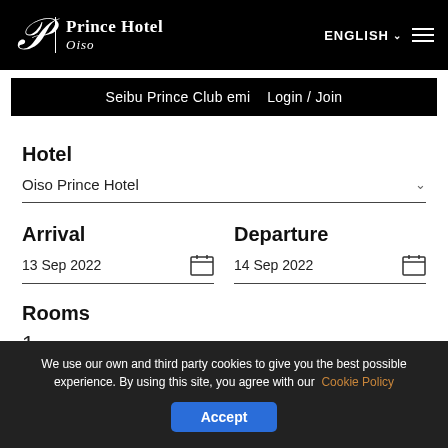Prince Hotel Oiso — ENGLISH navigation header
Seibu Prince Club emi   Login / Join
Hotel
Oiso Prince Hotel
Arrival
13 Sep 2022
Departure
14 Sep 2022
Rooms
1
We use our own and third party cookies to give you the best possible experience. By using this site, you agree with our Cookie Policy Accept